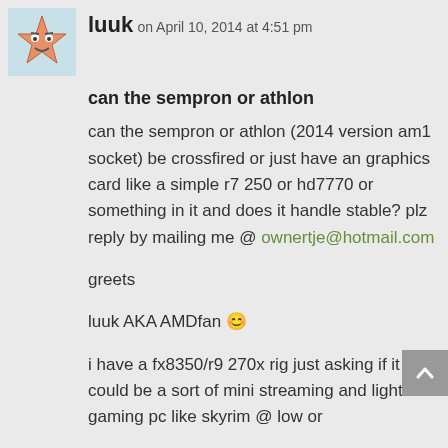[Figure (illustration): Small avatar image of a cartoon pink star character with a face, resembling Patrick Star from SpongeBob]
luuk on April 10, 2014 at 4:51 pm
can the sempron or athlon
can the sempron or athlon (2014 version am1 socket) be crossfired or just have an graphics card like a simple r7 250 or hd7770 or something in it and does it handle stable? plz reply by mailing me @ ownertje@hotmail.com

greets

luuk AKA AMDfan 😊

i have a fx8350/r9 270x rig just asking if it could be a sort of mini streaming and light gaming pc like skyrim @ low or